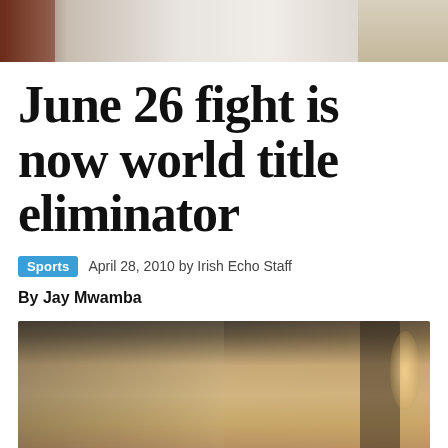[Figure (photo): Top portion of a photo showing two people, cropped at the top of the page]
June 26 fight is now world title eliminator
Sports   April 28, 2010 by Irish Echo Staff
By Jay Mwamba
[Figure (photo): Photo of two men in conversation — a younger man with dark hair on the left and an older bald man with glasses on the right, in a warmly lit indoor setting]